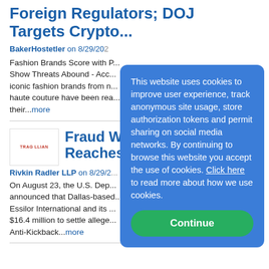Foreign Regulators; DOJ Targets Crypto...
BakerHostetler on 8/29/20...
Fashion Brands Score with P... Show Threats Abound - Acco... iconic fashion brands from n... haute couture have been rea... their...more
Fraud Week: Op... Reaches Kickba...
Rivkin Radler LLP on 8/29/2...
On August 23, the U.S. Dep... announced that Dallas-based... Essilor International and its ... $16.4 million to settle allege... Anti-Kickback...more
This website uses cookies to improve user experience, track anonymous site usage, store authorization tokens and permit sharing on social media networks. By continuing to browse this website you accept the use of cookies. Click here to read more about how we use cookies.